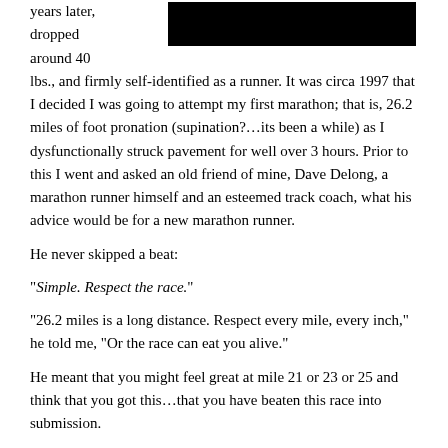years later, dropped around 40 lbs., and firmly self-identified as a runner. It was circa 1997 that I decided I was going to attempt my first marathon; that is, 26.2 miles of foot pronation (supination?…its been a while) as I dysfunctionally struck pavement for well over 3 hours. Prior to this I went and asked an old friend of mine, Dave Delong, a marathon runner himself and an esteemed track coach, what his advice would be for a new marathon runner.
[Figure (other): Black redacted rectangle in upper right corner]
He never skipped a beat:
“Simple. Respect the race.”
“26.2 miles is a long distance. Respect every mile, every inch,” he told me, “Or the race can eat you alive.”
He meant that you might feel great at mile 21 or 23 or 25 and think that you got this…that you have beaten this race into submission.